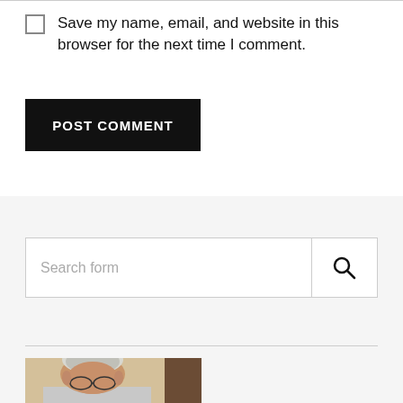Save my name, email, and website in this browser for the next time I comment.
POST COMMENT
[Figure (screenshot): Search form input field with a search icon button on the right side]
[Figure (photo): Partial photo of an elderly person with white/gray hair and glasses, cropped at the bottom of the page]